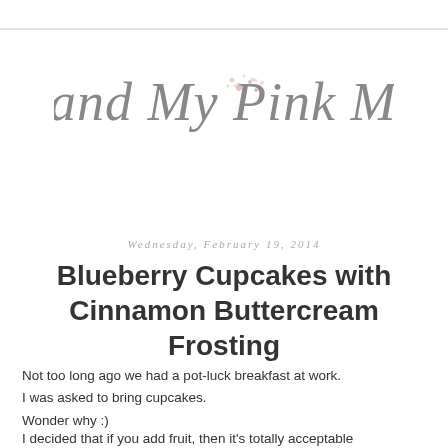[Figure (logo): Decorative script logo reading 'Me and My Pink Mixer' in gray cursive lettering with small pink floral accents]
Wednesday, February 19, 2014
Blueberry Cupcakes with Cinnamon Buttercream Frosting
Not too long ago we had a pot-luck breakfast at work.
I was asked to bring cupcakes.
Wonder why :)
I decided that if you add fruit, then it's totally acceptable...